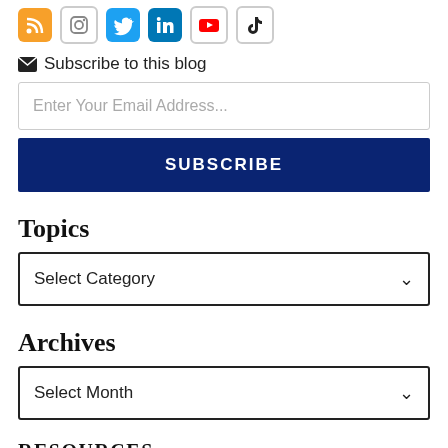[Figure (other): Row of social media icons: RSS (orange), Instagram, Twitter (blue), LinkedIn (blue), YouTube, TikTok]
Subscribe to this blog
Enter Your Email Address...
SUBSCRIBE
Topics
Select Category
Archives
Select Month
RESOURCES